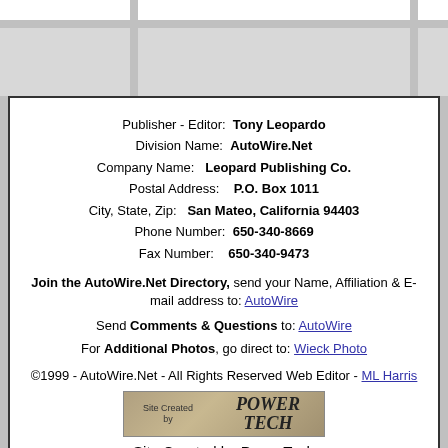[Figure (other): Gray grid/table header region at top of page with light gray cells separated by gaps]
Publisher - Editor: Tony Leopardo
Division Name: AutoWire.Net
Company Name: Leopard Publishing Co.
Postal Address: P.O. Box 1011
City, State, Zip: San Mateo, California 94403
Phone Number: 650-340-8669
Fax Number: 650-340-9473
Join the AutoWire.Net Directory, send your Name, Affiliation & E-mail address to: AutoWire
Send Comments & Questions to: AutoWire
For Additional Photos, go direct to: Wieck Photo
©1999 - AutoWire.Net - All Rights Reserved Web Editor - ML Harris
[Figure (logo): PowerTech logo banner: left side says 'Site Created by' in small text, right side shows 'POWER TECH' in large bold italic text on a tan/gray gradient background]
Site Created by PowerTech